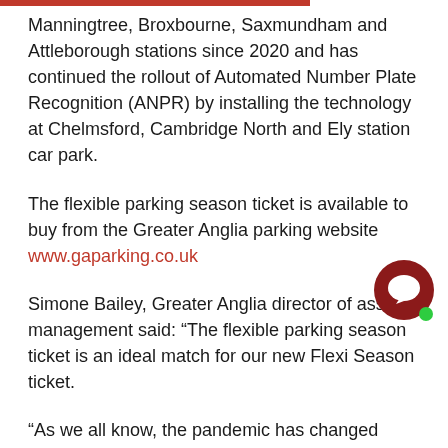Manningtree, Broxbourne, Saxmundham and Attleborough stations since 2020 and has continued the rollout of Automated Number Plate Recognition (ANPR) by installing the technology at Chelmsford, Cambridge North and Ely station car park.
The flexible parking season ticket is available to buy from the Greater Anglia parking website www.gaparking.co.uk
Simone Bailey, Greater Anglia director of asset management said: “The flexible parking season ticket is an ideal match for our new Flexi Season ticket.
“As we all know, the pandemic has changed working patterns, with commuters expected